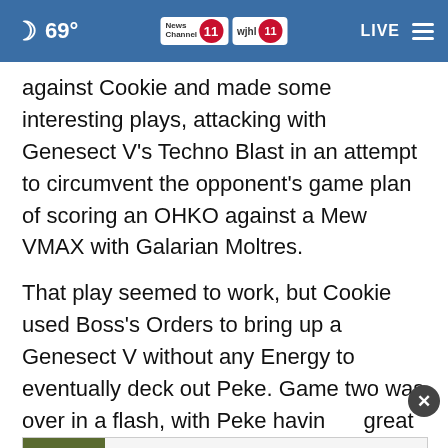69° News Channel 11 wjhl 11 LIVE
against Cookie and made some interesting plays, attacking with Genesect V's Techno Blast in an attempt to circumvent the opponent's game plan of scoring an OHKO against a Mew VMAX with Galarian Moltres.
That play seemed to work, but Cookie used Boss's Orders to bring up a Genesect V without any Energy to eventually deck out Peke. Game two was over in a flash, with Peke having great open... quickly losing the game. Also of note, the grand
[Figure (screenshot): Advertisement banner: Roundup/HDX/Ace weed killer class action settlement ad with an image of plants on the left and text 'Purchasers of certain Roundup®, HDX®, or Ace® brand weed killer may be eligible for a cash payment from a class action settlement. Visit www.WeedKillerAdSettlement.com to learn more.' with close and skip buttons.]